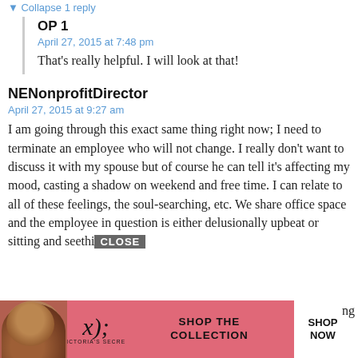▼ Collapse 1 reply
OP 1
April 27, 2015 at 7:48 pm
That's really helpful. I will look at that!
NENonprofitDirector
April 27, 2015 at 9:27 am
I am going through this exact same thing right now; I need to terminate an employee who will not change. I really don't want to discuss it with my spouse but of course he can tell it's affecting my mood, casting a shadow on weekend and free time. I can relate to all of these feelings, the soul-searching, etc. We share office space and the employee in question is either delusionally upbeat or sitting and seethi...ng
[Figure (screenshot): Victoria's Secret advertisement banner with woman photo, VS logo, 'SHOP THE COLLECTION' text, 'SHOP NOW' button, and a 'CLOSE' button overlay]